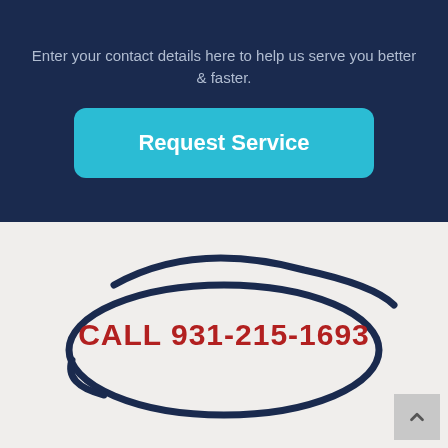Enter your contact details here to help us serve you better & faster.
Request Service
[Figure (illustration): Hand-drawn navy blue ellipse/circle enclosing the call-to-action phone number text, with a loose arc above it]
CALL 931-215-1693